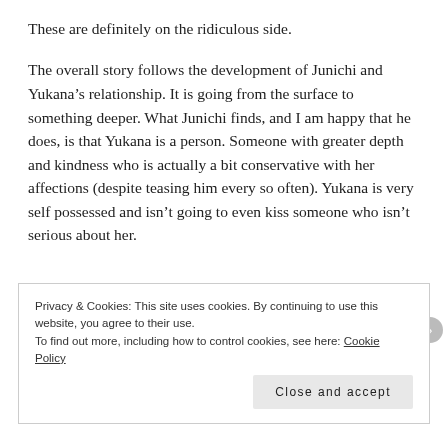These are definitely on the ridiculous side.
The overall story follows the development of Junichi and Yukana’s relationship. It is going from the surface to something deeper. What Junichi finds, and I am happy that he does, is that Yukana is a person. Someone with greater depth and kindness who is actually a bit conservative with her affections (despite teasing him every so often). Yukana is very self possessed and isn’t going to even kiss someone who isn’t serious about her.
Privacy & Cookies: This site uses cookies. By continuing to use this website, you agree to their use.
To find out more, including how to control cookies, see here: Cookie Policy
Close and accept